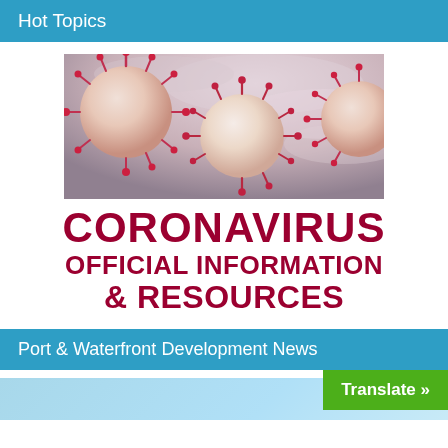Hot Topics
[Figure (photo): Close-up illustration of coronavirus particles (red spiky spheres) on a pinkish-purple atmospheric background]
CORONAVIRUS OFFICIAL INFORMATION & RESOURCES
Port & Waterfront Development News
[Figure (screenshot): Partial blue strip image at bottom left]
Translate »